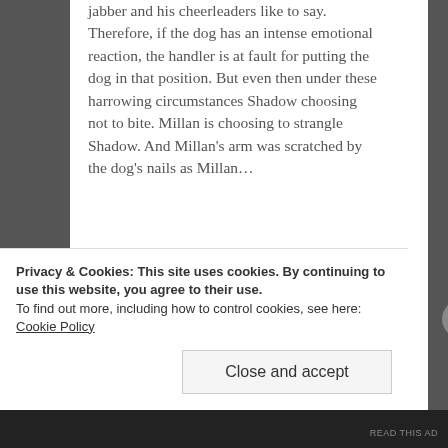jabber and his cheerleaders like to say. Therefore, if the dog has an intense emotional reaction, the handler is at fault for putting the dog in that position. But even then under these harrowing circumstances Shadow choosing not to bite. Millan is choosing to strangle Shadow. And Millan's arm was scratched by the dog's nails as Millan...
Privacy & Cookies: This site uses cookies. By continuing to use this website, you agree to their use.
To find out more, including how to control cookies, see here: Cookie Policy
Close and accept